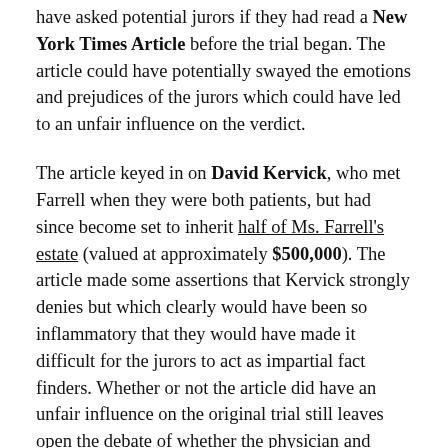have asked potential jurors if they had read a New York Times Article before the trial began. The article could have potentially swayed the emotions and prejudices of the jurors which could have led to an unfair influence on the verdict.
The article keyed in on David Kervick, who met Farrell when they were both patients, but had since become set to inherit half of Ms. Farrell's estate (valued at approximately $500,000). The article made some assertions that Kervick strongly denies but which clearly would have been so inflammatory that they would have made it difficult for the jurors to act as impartial fact finders. Whether or not the article did have an unfair influence on the original trial still leaves open the debate of whether the physician and hospital acted in a negligent manner. The only hope is that Ms. Farrell had been treated properly for her extreme situation and that her life